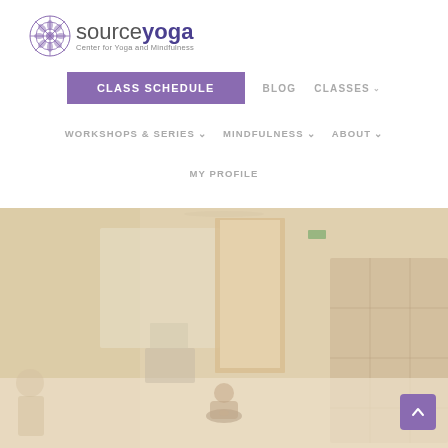[Figure (logo): Source Yoga logo with mandala/snowflake icon, text 'sourceyoga' with 'yoga' in bold dark purple, tagline 'Center for Yoga and Mindfulness']
CLASS SCHEDULE | BLOG | CLASSES | WORKSHOPS & SERIES | MINDFULNESS | ABOUT | MY PROFILE
[Figure (photo): Interior of a yoga studio with warm beige walls, a person sitting cross-legged in meditation pose on the floor, a wooden bookshelf/cubby on the right, a doorway in the center, a whiteboard and desk/computer on the left, blurred/soft focus background.]